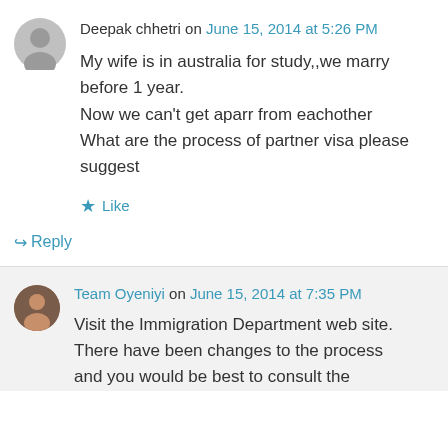Deepak chhetri on June 15, 2014 at 5:26 PM
My wife is in australia for study,,we marry before 1 year.
Now we can't get aparr from eachother
What are the process of partner visa please suggest
★ Like
↪ Reply
Team Oyeniyi on June 15, 2014 at 7:35 PM
Visit the Immigration Department web site. There have been changes to the process and you would be best to consult the